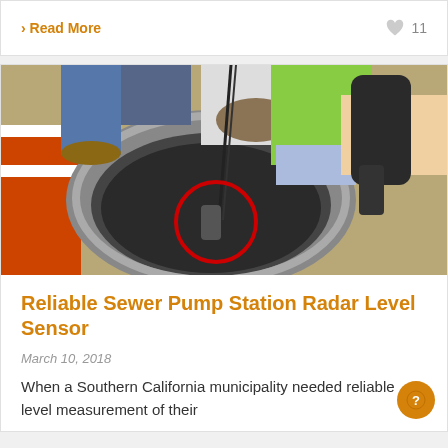› Read More
11
[Figure (photo): Workers installing a radar level sensor into a sewer manhole. One worker in a safety vest lowers a sensor device (circled in red) into the opening while another person holds a handheld device. Orange traffic cones are visible to the left.]
Reliable Sewer Pump Station Radar Level Sensor
March 10, 2018
When a Southern California municipality needed reliable level measurement of their